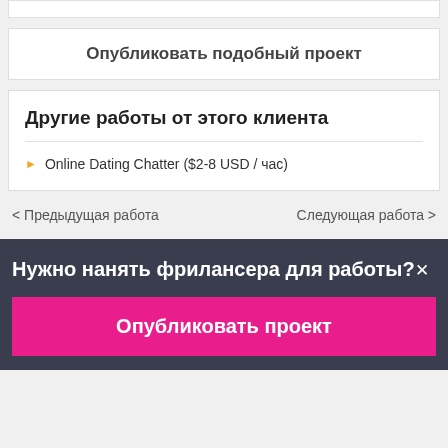[Figure (screenshot): Top white partial bar at the top of the page]
Опубликовать подобный проект
Другие работы от этого клиента
Online Dating Chatter ($2-8 USD / час)
< Предыдущая работа
Следующая работа >
Нужно нанять фрилансера для работы?✕
Опубликовать проект